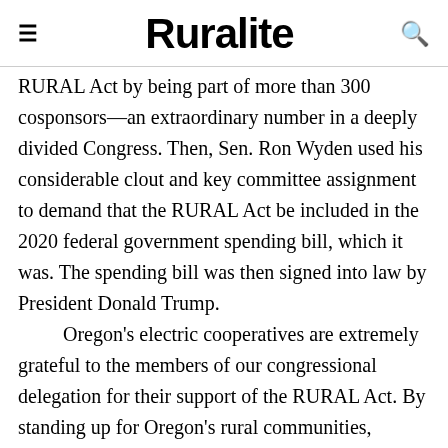≡  Ruralite  🔍
RURAL Act by being part of more than 300 cosponsors—an extraordinary number in a deeply divided Congress. Then, Sen. Ron Wyden used his considerable clout and key committee assignment to demand that the RURAL Act be included in the 2020 federal government spending bill, which it was. The spending bill was then signed into law by President Donald Trump.

    Oregon's electric cooperatives are extremely grateful to the members of our congressional delegation for their support of the RURAL Act. By standing up for Oregon's rural communities,